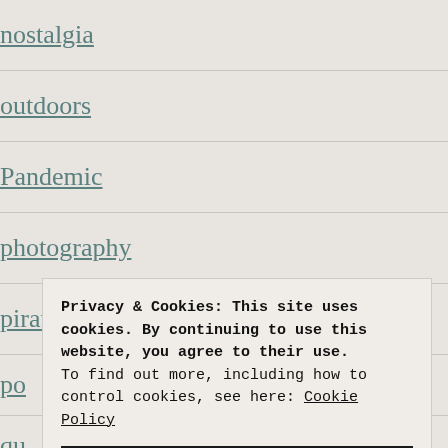nostalgia
outdoors
Pandemic
photography
pirates
po
qu
re
re
Privacy & Cookies: This site uses cookies. By continuing to use this website, you agree to their use. To find out more, including how to control cookies, see here: Cookie Policy
Close and accept